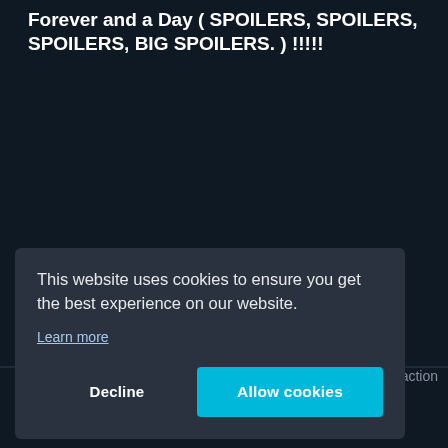Forever and a Day ( SPOILERS, SPOILERS, SPOILERS, BIG SPOILERS. ) !!!!!
This website uses cookies to ensure you get the best experience on our website.
Learn more
Decline
Allow cookies
action sequences are extremely well done, with one torture sequence making your skin crawl ( Now where